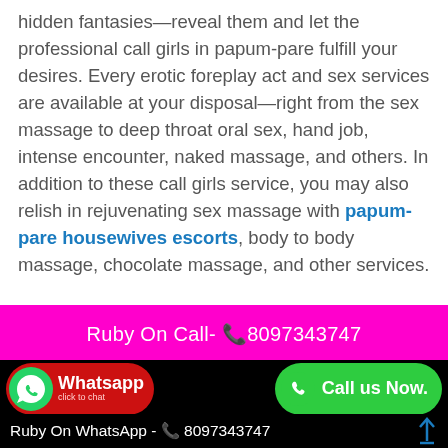hidden fantasies—reveal them and let the professional call girls in papum-pare fulfill your desires. Every erotic foreplay act and sex services are available at your disposal—right from the sex massage to deep throat oral sex, hand job, intense encounter, naked massage, and others. In addition to these call girls service, you may also relish in rejuvenating sex massage with papum-pare housewives escorts, body to body massage, chocolate massage, and other services.

If you are in papum-pare and want to unwind your stress, then this is a right opportunity to live your dream by hiring the most sensual call girls in papum-pare. Dial their
[Figure (infographic): Magenta banner with text 'Ruby On Call- 📞8097343747', WhatsApp button with red background, green Call us Now button, black footer with 'Ruby On WhatsApp - 📞 8097343747' and up arrow]